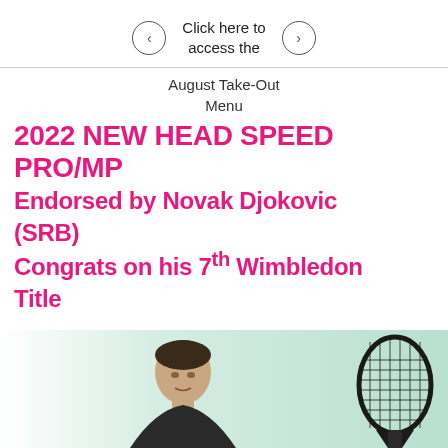Click here to access the August Take-Out Menu
2022 NEW HEAD SPEED PRO/MP Endorsed by Novak Djokovic (SRB) Congrats on his 7th Wimbledon Title
[Figure (photo): Photo of Novak Djokovic (head and shoulders) on the left, and a tennis racket (HEAD Speed) on the right, on a light green/teal background.]